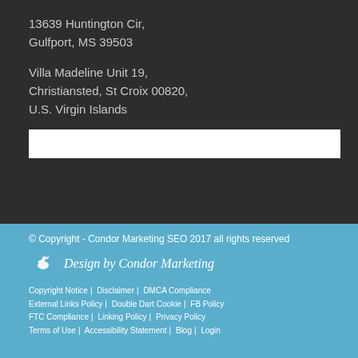13639 Huntington Cir,
Gulfport, MS 39503
Villa Madeline Unit 19,
Christiansted, St Croix 00820,
U.S. Virgin Islands
[Figure (other): White search input box]
© Copyright - Condor Marketing SEO 2017 all rights reserved
[Figure (logo): Condor Marketing logo with bird illustration and text 'Design by Condor Marketing' in italic script]
Copyright Notice | Disclaimer | DMCA Compliance | External Links Policy | Double Dart Cookie | FB Policy | FTC Compliance | Linking Policy | Privacy Policy | Terms of Use | Accessibility Statement | Blog | Login